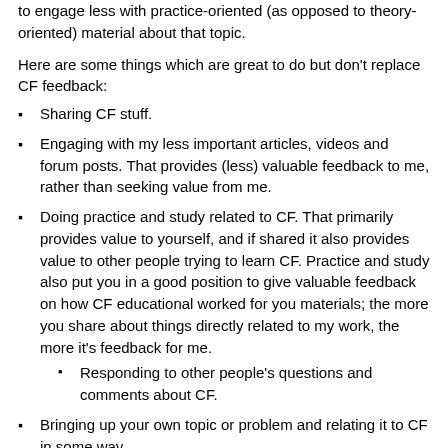to engage less with practice-oriented (as opposed to theory-oriented) material about that topic.
Here are some things which are great to do but don't replace CF feedback:
Sharing CF stuff.
Engaging with my less important articles, videos and forum posts. That provides (less) valuable feedback to me, rather than seeking value from me.
Doing practice and study related to CF. That primarily provides value to yourself, and if shared it also provides value to other people trying to learn CF. Practice and study also put you in a good position to give valuable feedback on how CF educational worked for you materials; the more you share about things directly related to my work, the more it's feedback for me.
Responding to other people's questions and comments about CF.
Bringing up your own topic or problem and relating it to CF in some way.
Please don't engage with CF in negative ways like social climbing at my expense. Don't debate me in an ambiguous or indirect manner,